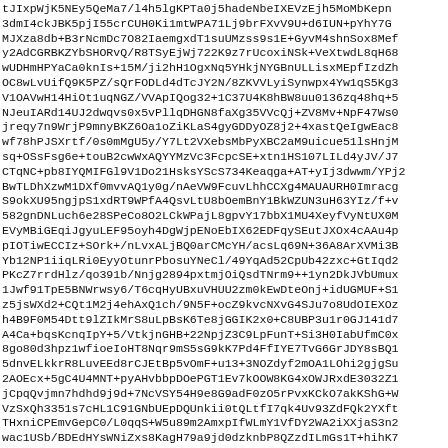tJIxpWjK5NEy5QeMa7/l4h5lgKPTa0j5hadeNbeIXEVzEjh5MoMbKepn
3dmI4ckJBK5pjI55crCUH0Ki1mtWPA71Lj9brFXvV9U+d6IUN+pYhY7G
MJXza8db+B3rNcmDc7O82IaemgxdT1suUMzss9s1E+GyvM4shnSox8Mef
y2AdCGRBKZYbSHORvQ/R8TSyEjWj722K9z7rUcoxiNSk+VeXtwdL8qH68
wUDHmHPYaCa0knIs+15M/ji2hH1OgxNq5YHkjNYGBnULLisxMEpfIzdZh
OC8wLvUifQ9K5PZ/sQrFODLd4dTcJY2N/8ZKVVLyiSynwpx4Yw1qS5Kg3
V1OAVwH14HiOt1uqNGZ/VVApIQog32+1C37U4K8hBW8uu0136zq48hq+5
NJeuIARd14UJ2dwqvs0x5vPllqDHGN8faXg35VVcQj+ZV8Mv+NpF47Ws0
jreqy7n9WrjP9mnyBKZ6Oa1oZiKLaS4gyGDDyOZ8j2+4xastQeIgwEac8
wf78hPJSXrtf/0s0mMgU5y/Y7Lt2VXebsMbPyXBC2aM9uicue51lsHnjM
sq+OSsFsg6e+touB2cwWxAQYYMzVc3FcpcSE+xtn1HS107LILd4yJV/J7
CTqNC+pb8IYQMIFGl9V1Do21HsksYScS734Keaqga+AT+yIj3dwwm/YPj2
BwTLDhXzwM1DXf0mvvAQ1y0g/nAeVW9FcuvLhhCCXg4MAUAURH0Imracg
S9okXU95ngjpS1xdRT9WPfA4QsvLtU8bOemBnY1BkWZUN3uH63YIz/f+v
582gnDNLuch6e28SPeCo8O2LCkWPajL8gpvY17bbX1MU4XeyfVyNtUX0M
EVyMBiGEqiJgyuLEF95oyh4DgWjpENoEbIX62EDFqySEutJXOx4cAAu4p
pIOTiwECCIz+SOrk+/nLvxALjBQ0arCMcYH/acsLq69N+36A8ArXVMi3B
Yb12NP1iiqLRi0EyyOtunrPbosuYNeCl/49YqAd52CpUb42zxc+GtIqd2
PKcZ7rrdHlz/qo391b/Nnjg2894pxtmjOiQsdTNrm9++1yn2DkJVbUmux
1Jwf91TpE5BNWrwsy6/T6cqHyUBxuVHUU2zm0kEwDteOnj+idUGMUF+S1
z5jsWXd2+CQt1M2j4ehAxQ1ch/9N5F+ocZ9kvcNXvG4SJu7o8UdOIEXOz
h4B9F0M54Dtt9lZIkMrS8uLpBsK6Te8jGGIK2x0+C8UBP3u1r0GJ141d7
A4Ca+bqsKcnqIpY+5/VtkjnGHB+22NpjZ3C9LpFunT+Si3H0IabUfmC0x
8go80d3hpz1wfioeIoHT8Nqr9mS5sG9kK7Pd4FfIYE7TvG6GrJDY8sBQ1
5dnvELkkrR8LuvEEd8rCJEtBp5vOmF+u13+3NOZdyf2mOA1LOhi2gjgSu
2AOEcx+5gC4U4MNT+pyAHvbbpDOePGT1Ev7kOOW8KG4xOWJRxdE3032Z1
jCpqQvjmn7hdhd9j9d+7NcVSY54H9e8G9adF0zO5rPvxKCkO7akKShG+W
VzSxQh3351s7cHL1C91GNbUEpDQUnkii0tQLtfI7qk4Uv93ZdFQk2YXft
THxniCPEmvGepC0/L0qqS+W5u89m2AmxpIfWLmY1VfDY2WA2iXXjaS3n2
wac1USb/BDEdHYsWNiZxs8KagH79a9jd0dzknbP8QZzdILmGs1T+hihK7
ofTOhPFvd1NpAFVrOKp1Sl35HevlWrH/6IT7mvkUMpLvbZOviecF7ME4dO